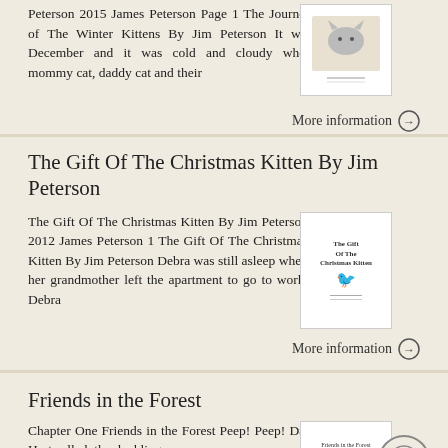Peterson 2015 James Peterson Page 1 The Journey of The Winter Kittens By Jim Peterson It was December and it was cold and cloudy when mommy cat, daddy cat and their
More information →
The Gift Of The Christmas Kitten By Jim Peterson
The Gift Of The Christmas Kitten By Jim Peterson 2012 James Peterson 1 The Gift Of The Christmas Kitten By Jim Peterson Debra was still asleep when her grandmother left the apartment to go to work. Debra
More information →
Friends in the Forest
Chapter One Friends in the Forest Peep! Peep! Dad, Lily Hart called, the ducklings are